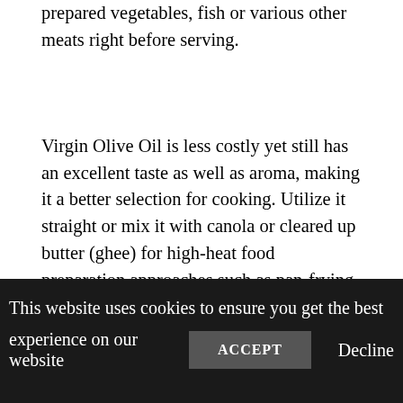prepared vegetables, fish or various other meats right before serving.
Virgin Olive Oil is less costly yet still has an excellent taste as well as aroma, making it a better selection for cooking. Utilize it straight or mix it with canola or cleared up butter (ghee) for high-heat food preparation approaches such as pan-frying, or broiling.
Olive Oil or Pure Olive Oil describes the fact that nothing else types of oils are blended with the olive oil. Unlike additional virgin as well as virgin
This website uses cookies to ensure you get the best experience on our website
ACCEPT
Decline